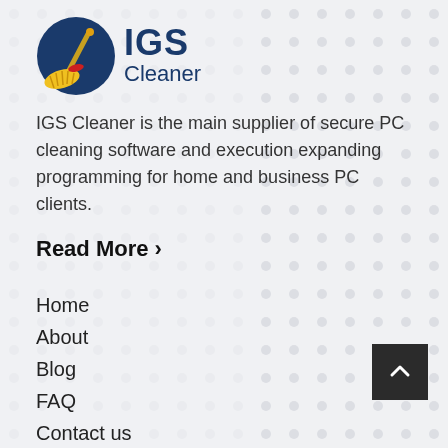[Figure (logo): IGS Cleaner logo with broom icon on dark blue circular background and text 'IGS Cleaner']
IGS Cleaner is the main supplier of secure PC cleaning software and execution expanding programming for home and business PC clients.
Read More >
Home
About
Blog
FAQ
Contact us
Lost License Key
Products Features